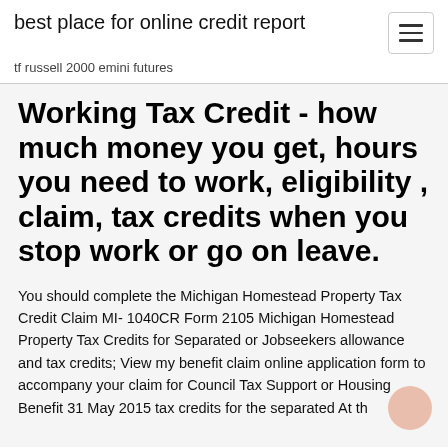best place for online credit report
tf russell 2000 emini futures
Working Tax Credit - how much money you get, hours you need to work, eligibility , claim, tax credits when you stop work or go on leave.
You should complete the Michigan Homestead Property Tax Credit Claim MI- 1040CR Form 2105 Michigan Homestead Property Tax Credits for Separated or Jobseekers allowance and tax credits; View my benefit claim online application form to accompany your claim for Council Tax Support or Housing Benefit 31 May 2015 tax credits for the separated At th